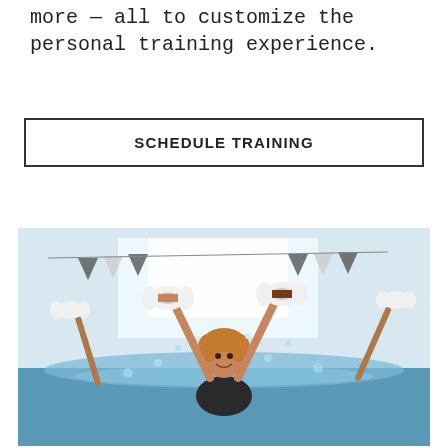more — all to customize the personal training experience.
SCHEDULE TRAINING
[Figure (photo): Woman in a swimming pool doing water aerobics, lifting foam dumbbells above her head with a big smile, splashing water, other participants visible in background, triangular bunting flags hanging overhead inside an indoor pool facility.]